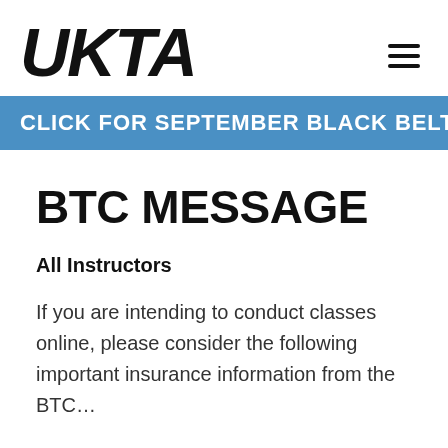UKTA
CLICK FOR SEPTEMBER BLACK BELT GRADIN
BTC MESSAGE
All Instructors
If you are intending to conduct classes online, please consider the following important insurance information from the BTC…